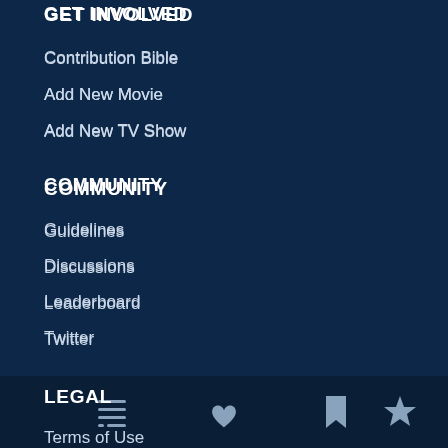GET INVOLVED
Contribution Bible
Add New Movie
Add New TV Show
COMMUNITY
Guidelines
Discussions
Leaderboard
Twitter
LEGAL
Terms of Use
API Terms of Use
Privacy Policy
[Figure (other): Bottom navigation bar with four icons: list/menu icon, heart icon, bookmark icon, star icon]